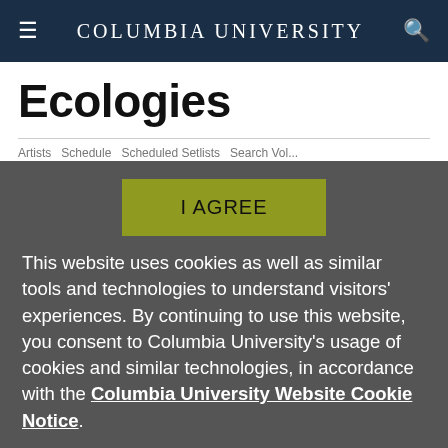Columbia University
Ecologies
I AGREE
This website uses cookies as well as similar tools and technologies to understand visitors' experiences. By continuing to use this website, you consent to Columbia University's usage of cookies and similar technologies, in accordance with the Columbia University Website Cookie Notice.